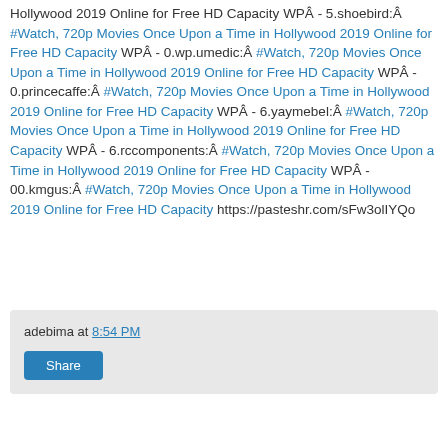Hollywood 2019 Online for Free HD Capacity WPÂ - 5.shoebird:Â #Watch, 720p Movies Once Upon a Time in Hollywood 2019 Online for Free HD Capacity WPÂ - 0.wp.umedic:Â #Watch, 720p Movies Once Upon a Time in Hollywood 2019 Online for Free HD Capacity WPÂ - 0.princecaffe:Â #Watch, 720p Movies Once Upon a Time in Hollywood 2019 Online for Free HD Capacity WPÂ - 6.yaymebel:Â #Watch, 720p Movies Once Upon a Time in Hollywood 2019 Online for Free HD Capacity WPÂ - 6.rccomponents:Â #Watch, 720p Movies Once Upon a Time in Hollywood 2019 Online for Free HD Capacity WPÂ - 00.kmgus:Â #Watch, 720p Movies Once Upon a Time in Hollywood 2019 Online for Free HD Capacity https://pasteshr.com/sFw3olIYQo
adebima at 8:54 PM
Share